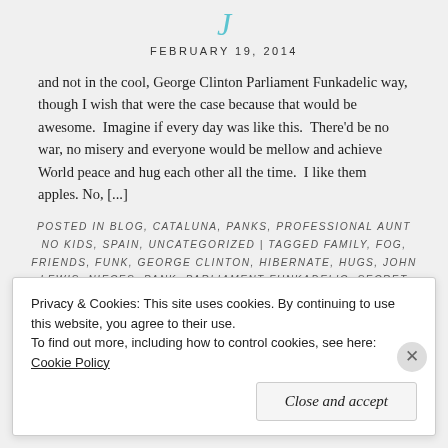FEBRUARY 19, 2014
and not in the cool, George Clinton Parliament Funkadelic way, though I wish that were the case because that would be awesome.  Imagine if every day was like this.  There'd be no war, no misery and everyone would be mellow and achieve World peace and hug each other all the time.  I like them apples. No, [...]
POSTED IN BLOG, CATALUNA, PANKS, PROFESSIONAL AUNT NO KIDS, SPAIN, UNCATEGORIZED | TAGGED FAMILY, FOG, FRIENDS, FUNK, GEORGE CLINTON, HIBERNATE, HUGS, JOHN LEWIS, NIECES, PANK, PARLIAMENT FUNKADELIC, SECRET DIARY, SHANGHAI, SMOG, SUN, SUNSHINE, SURROGATE FAMILY, WORLD PEACE | LEAVE A COMMENT
Privacy & Cookies: This site uses cookies. By continuing to use this website, you agree to their use.
To find out more, including how to control cookies, see here: Cookie Policy